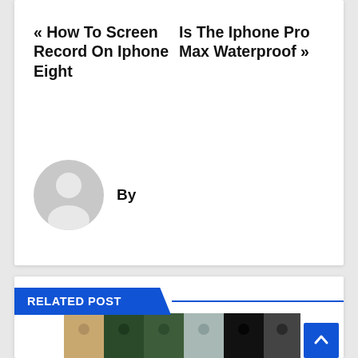« How To Screen Record On Iphone Eight
Is The Iphone Pro Max Waterproof »
By
[Figure (illustration): Default grey avatar/profile placeholder icon showing a silhouette of a person]
RELATED POST
[Figure (photo): Row of iPhones in various colors and models displayed side by side]